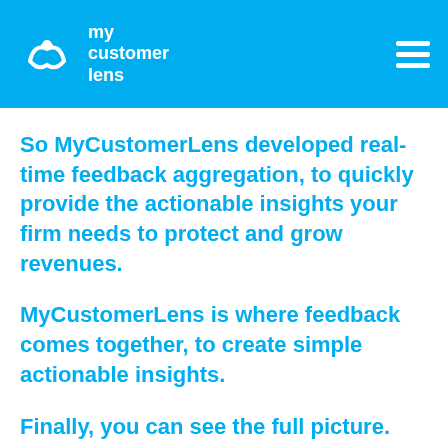my customer lens
So MyCustomerLens developed real-time feedback aggregation, to quickly provide the actionable insights your firm needs to protect and grow revenues.
MyCustomerLens is where feedback comes together, to create simple actionable insights.
Finally, you can see the full picture.